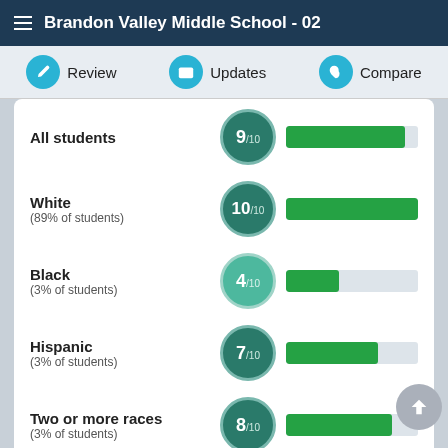Brandon Valley Middle School - 02
Review | Updates | Compare
[Figure (bar-chart): Student scores by race/ethnicity]
Sources
EQUITY